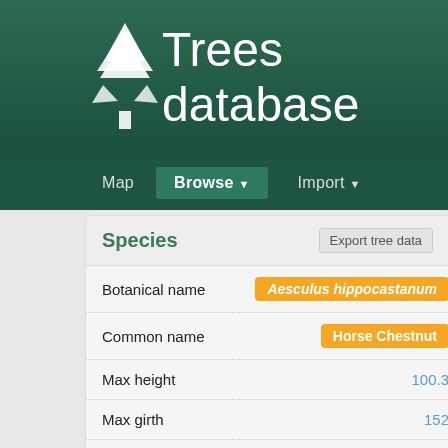[Figure (logo): White pine/fir tree icon on dark green background]
Trees database
Map  Browse  Import
Species
| Field | Value |
| --- | --- |
| Botanical name | Aesculus hippocastanum |
| Common name | Horse Chestnut |
| Max height | 100.3 |
| Max girth | 152 |
| Max crown spread | 61.0 |